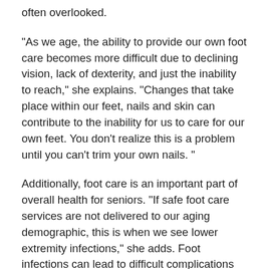often overlooked.
“As we age, the ability to provide our own foot care becomes more difficult due to declining vision, lack of dexterity, and just the inability to reach,” she explains. “Changes that take place within our feet, nails and skin can contribute to the inability for us to care for our own feet. You don’t realize this is a problem until you can’t trim your own nails. ”
Additionally, foot care is an important part of overall health for seniors. “If safe foot care services are not delivered to our aging demographic, this is when we see lower extremity infections,” she adds. Foot infections can lead to difficult complications such as osteomyelitis, amputations and even death. Even seemingly minor things like corn and thickened nails, can lead to improper gait, fall risk, and declining mobility.